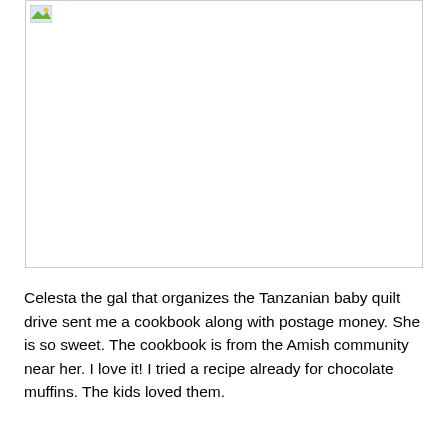[Figure (photo): A mostly blank white image placeholder with a broken/loading image icon in the top-left corner, surrounded by a light gray border.]
Celesta the gal that organizes the Tanzanian baby quilt drive sent me a cookbook along with postage money.  She is so sweet.  The cookbook is from the Amish community near her.  I love it!  I tried a recipe already for chocolate muffins.  The kids loved them.